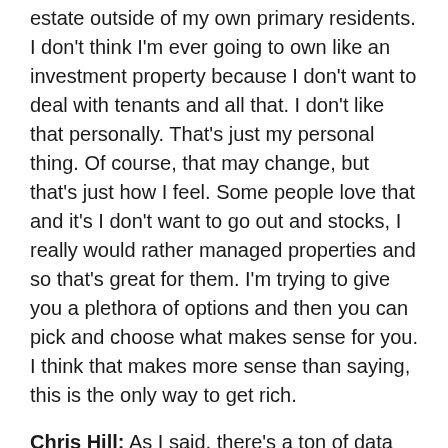estate outside of my own primary residents. I don't think I'm ever going to own like an investment property because I don't want to deal with tenants and all that. I don't like that personally. That's just my personal thing. Of course, that may change, but that's just how I feel. Some people love that and it's I don't want to go out and stocks, I really would rather managed properties and so that's great for them. I'm trying to give you a plethora of options and then you can pick and choose what makes sense for you. I think that makes more sense than saying, this is the only way to get rich.
Chris Hill: As I said, there's a ton of data that you do a wonderful job of bringing to lighten the book. But I think for my money, one of the most important chapters is late in the book, a chaptering titled why you will never feel rich. For me, it was pretty illuminating because it's something that I've been wondering about particularly with seeing